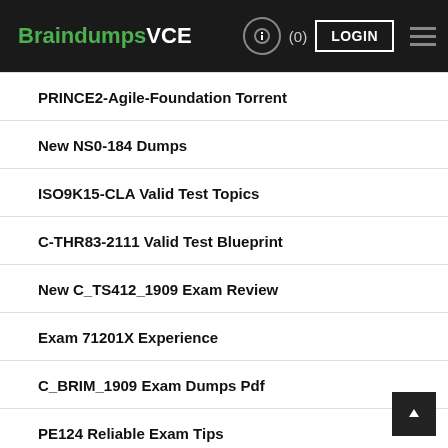BraindumpsVCE LOGIN
PRINCE2-Agile-Foundation Torrent
New NS0-184 Dumps
ISO9K15-CLA Valid Test Topics
C-THR83-2111 Valid Test Blueprint
New C_TS412_1909 Exam Review
Exam 71201X Experience
C_BRIM_1909 Exam Dumps Pdf
PE124 Reliable Exam Tips
Reliable 2V0-51.19 Exam Papers
H31-131 Instant Access